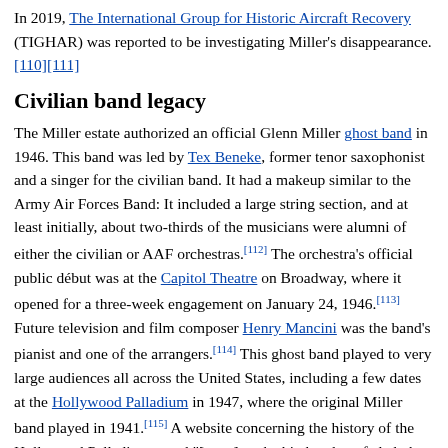In 2019, The International Group for Historic Aircraft Recovery (TIGHAR) was reported to be investigating Miller's disappearance. [110][111]
Civilian band legacy
The Miller estate authorized an official Glenn Miller ghost band in 1946. This band was led by Tex Beneke, former tenor saxophonist and a singer for the civilian band. It had a makeup similar to the Army Air Forces Band: It included a large string section, and at least initially, about two-thirds of the musicians were alumni of either the civilian or AAF orchestras.[112] The orchestra's official public début was at the Capitol Theatre on Broadway, where it opened for a three-week engagement on January 24, 1946.[113] Future television and film composer Henry Mancini was the band's pianist and one of the arrangers.[114] This ghost band played to very large audiences all across the United States, including a few dates at the Hollywood Palladium in 1947, where the original Miller band played in 1941.[115] A website concerning the history of the Hollywood Palladium noted "[even] as the big band era faded, the Tex Beneke and Glenn Miller Orchestra concert at the Palladium resulted in a record-breaking crowd of 6,750 dancers."